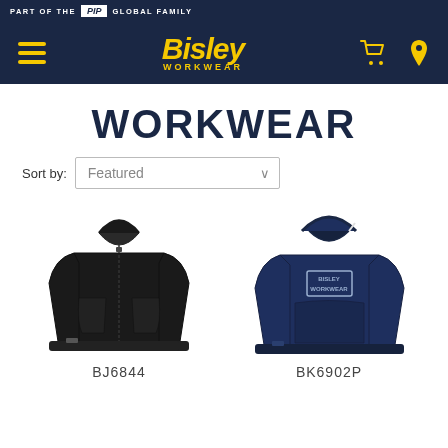PART OF THE PIP GLOBAL FAMILY
[Figure (logo): Bisley Workwear logo with hamburger menu, shopping cart, and location pin icons on dark navy background]
WORKWEAR
Sort by: Featured
[Figure (photo): Black zip-up hoodie workwear product photo, product code BJ6844]
BJ6844
[Figure (photo): Navy pullover hoodie with Bisley Workwear graphic print, product code BK6902P]
BK6902P